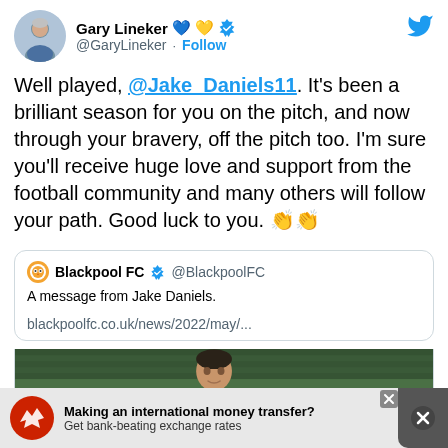Gary Lineker @GaryLineker · Follow
Well played, @Jake_Daniels11. It's been a brilliant season for you on the pitch, and now through your bravery, off the pitch too. I'm sure you'll receive huge love and support from the football community and many others will follow your path. Good luck to you. 👏👏
Blackpool FC @BlackpoolFC – A message from Jake Daniels. blackpoolfc.co.uk/news/2022/may/...
[Figure (photo): Photo of a person (Jake Daniels) outdoors on a green field, head and shoulders visible, cropped at bottom]
Making an international money transfer? Get bank-beating exchange rates